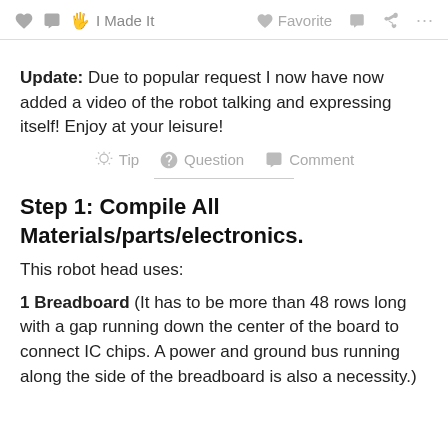I Made It   Favorite   Comment   Share   ...
Update: Due to popular request I now have now added a video of the robot talking and expressing itself! Enjoy at your leisure!
Tip   Question   Comment
Step 1: Compile All Materials/parts/electronics.
This robot head uses:
1 Breadboard (It has to be more than 48 rows long with a gap running down the center of the board to connect IC chips. A power and ground bus running along the side of the breadboard is also a necessity.)